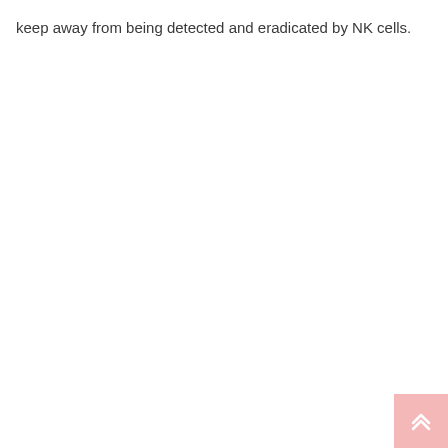keep away from being detected and eradicated by NK cells.